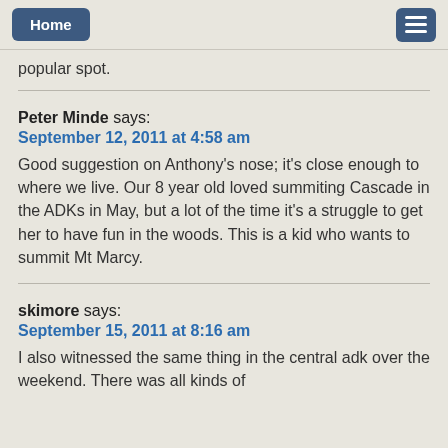Home
popular spot.
Peter Minde says:
September 12, 2011 at 4:58 am
Good suggestion on Anthony's nose; it's close enough to where we live. Our 8 year old loved summiting Cascade in the ADKs in May, but a lot of the time it's a struggle to get her to have fun in the woods. This is a kid who wants to summit Mt Marcy.
skimore says:
September 15, 2011 at 8:16 am
I also witnessed the same thing in the central adk over the weekend. There was all kinds of